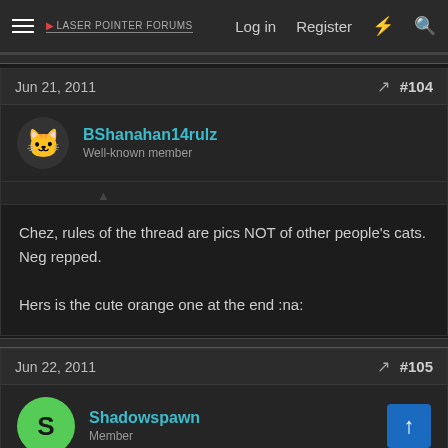Laser Pointer Forums  Log in  Register
Jun 21, 2011  #104
BShanahan14rulz
Well-known member
Chez, rules of the thread are pics NOT of other people's cats. Neg repped.

Hers is the cute orange one at the end :na:
Jun 22, 2011  #105
Shadowspawn
Member